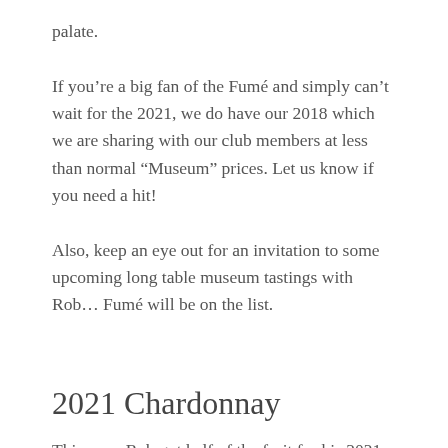palate.
If you’re a big fan of the Fumé and simply can’t wait for the 2021, we do have our 2018 which we are sharing with our club members at less than normal “Museum” prices. Let us know if you need a hit!
Also, keep an eye out for an invitation to some upcoming long table museum tastings with Rob… Fumé will be on the list.
2021 Chardonnay
This year, Rob got half of the fruit for his 2021